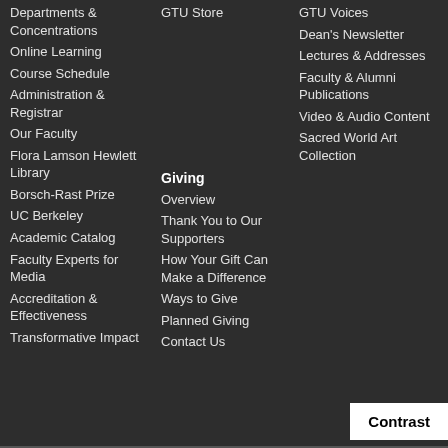Departments & Concentrations
Online Learning
Course Schedule
Administration & Registrar
Our Faculty
Flora Lamson Hewlett Library
Borsch-Rast Prize
UC Berkeley
Academic Catalog
Faculty Experts for Media
Accreditation & Effectiveness
Transformative Impact
GTU Store
Giving
Overview
Thank You to Our Supporters
How Your Gift Can Make a Difference
Ways to Give
Planned Giving
Contact Us
GTU Voices
Dean's Newsletter
Lectures & Addresses
Faculty & Alumni Publications
Video & Audio Content
Sacred World Art Collection
Contrast